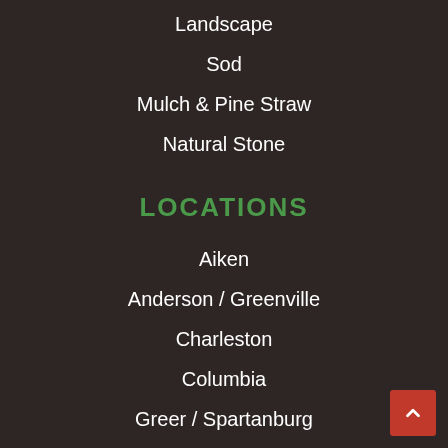Landscape
Sod
Mulch & Pine Straw
Natural Stone
LOCATIONS
Aiken
Anderson / Greenville
Charleston
Columbia
Greer / Spartanburg